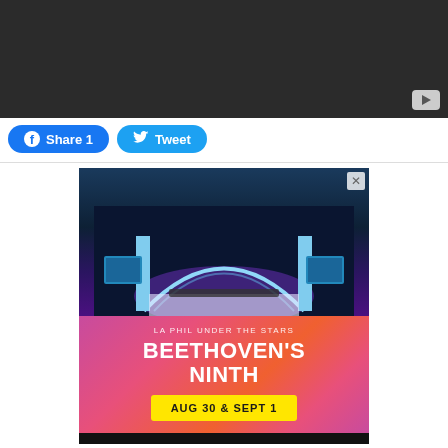[Figure (screenshot): Dark video player with YouTube icon in bottom-right corner]
Share 1   Tweet
[Figure (infographic): LA Phil advertisement: Hollywood Bowl concert photo on top, magenta/pink gradient background below with text 'LA PHIL UNDER THE STARS', 'BEETHOVEN'S NINTH', date button 'AUG 30 & SEPT 1', footer 'HOLLYWOOD BOWL 100 LA Phil']